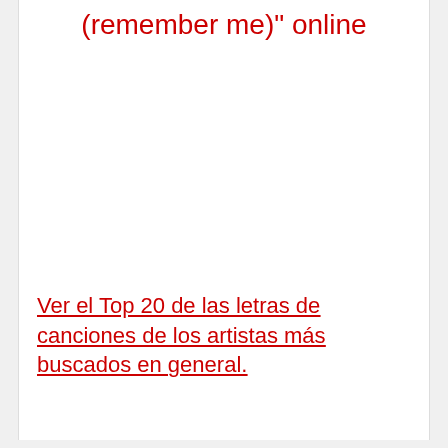(remember me)" online
Ver el Top 20 de las letras de canciones de los artistas más buscados en general.